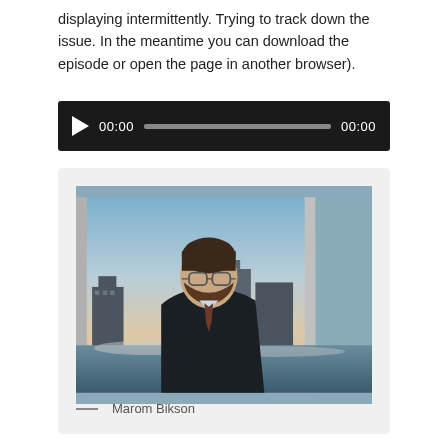displaying intermittently. Trying to track down the issue. In the meantime you can download the episode or open the page in another browser).
[Figure (screenshot): Audio player widget with dark background, play button, time display showing 00:00, progress bar, and end time 00:00]
[Figure (photo): Portrait photo of a man with glasses and a beard wearing a dark suit and tie, standing in front of large windows with a city skyline in the background at dusk/dawn with snow visible.]
— Marom Bikson